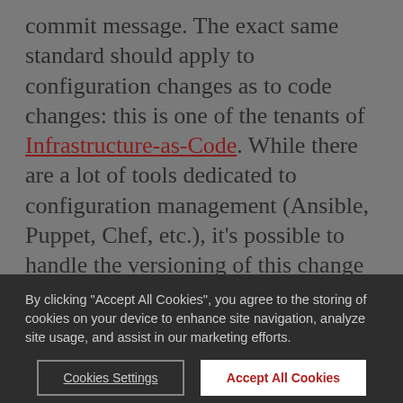commit message. The exact same standard should apply to configuration changes as to code changes: this is one of the tenants of Infrastructure-as-Code. While there are a lot of tools dedicated to configuration management (Ansible, Puppet, Chef, etc.), it's possible to handle the versioning of this change without any additional infrastructure component with Kubernetes. It includes two steps:
By clicking "Accept All Cookies", you agree to the storing of cookies on your device to enhance site navigation, analyze site usage, and assist in our marketing efforts.
Cookies Settings
Accept All Cookies